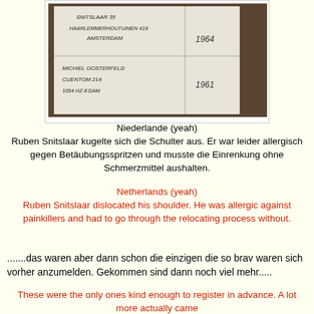[Figure (photo): A handwritten list/document showing names and addresses in Dutch/German, with years 1964 and 1961. Includes entries like 'HAARLEMMERHOUTUINEN 419 AMSTERDAM' and 'MICHIEL OOSTERFELD CUENTOM 214 1054 HZ A'DAM']
Niederlande (yeah)
Ruben Snitslaar kugelte sich die Schulter aus. Er war leider allergisch gegen Betäubungsspritzen und musste die Einrenkung ohne Schmerzmittel aushalten.
Netherlands (yeah)
Ruben Snitslaar dislocated his shoulder. He was allergic against painkillers and had to go through the relocating process without.
.......das waren aber dann schon die einzigen die so brav waren sich vorher anzumelden. Gekommen sind dann noch viel mehr.....
These were the only ones kind enough to register in advance. A lot more actually came